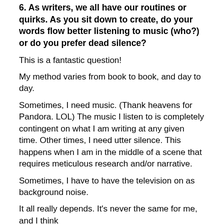6.  As writers, we all have our routines or quirks. As you sit down to create, do your words flow better listening to music (who?) or do you prefer dead silence?
This is a fantastic question!
My method varies from book to book, and day to day.
Sometimes, I need music. (Thank heavens for Pandora. LOL) The music I listen to is completely contingent on what I am writing at any given time. Other times, I need utter silence. This happens when I am in the middle of a scene that requires meticulous research and/or narrative.
Sometimes, I have to have the television on as background noise.
It all really depends. It's never the same for me, and I think